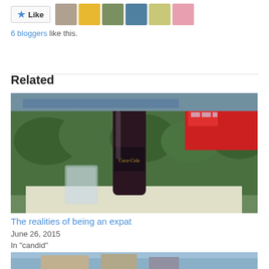[Figure (other): Like button with star icon and 6 avatar thumbnails of bloggers]
6 bloggers like this.
Related
[Figure (photo): Photo of a Coca-Cola glass bottle on a white table with green hedges and a red double-decker bus in the background]
The realities of being an expat
June 26, 2015
In "candid"
[Figure (photo): Partial view of a second related article image at the bottom]